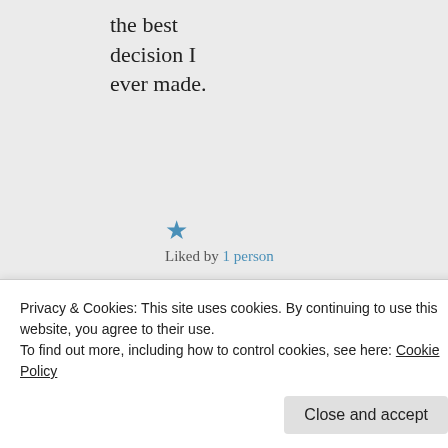the best decision I ever made.
★ Liked by 1 person
↪ Reply
Ritu on June 4,
Privacy & Cookies: This site uses cookies. By continuing to use this website, you agree to their use.
To find out more, including how to control cookies, see here: Cookie Policy
Close and accept